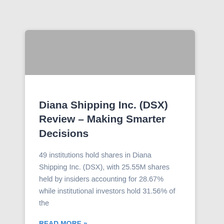[Figure (illustration): Gray banner background with circular avatar placeholder icon showing a person silhouette]
Diana Shipping Inc. (DSX) Review – Making Smarter Decisions
49 institutions hold shares in Diana Shipping Inc. (DSX), with 25.55M shares held by insiders accounting for 28.67% while institutional investors hold 31.56% of the
READ MORE »
April 28, 2021  •  No Comments